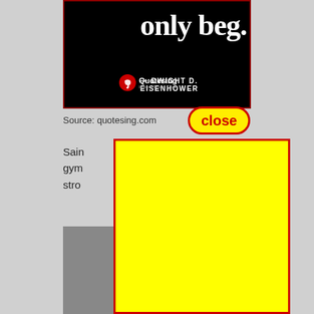[Figure (screenshot): Black quote card image with large white serif text 'only beg.' on dark background with red border, attribution '— DWIGHT D. EISENHOWER' and Quotesing logo bottom right]
Source: quotesing.com
[Figure (other): Red-bordered yellow 'close' button overlay]
Sain
gym
stro
[Figure (photo): Gray background photo partially visible under yellow overlay]
[Figure (other): Large yellow rectangle overlay with thick red border covering main content area]